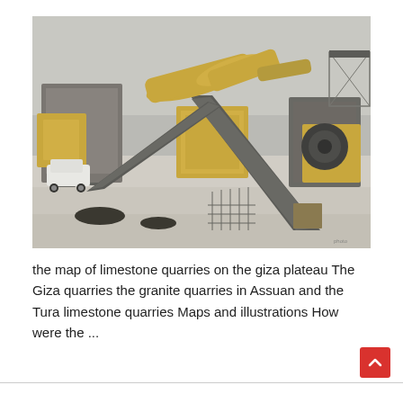[Figure (photo): Photograph of an industrial limestone quarry processing plant with conveyor belts, yellow machinery, silos, and dusty ground. A white car is visible at lower left.]
the map of limestone quarries on the giza plateau The Giza quarries the granite quarries in Assuan and the Tura limestone quarries Maps and illustrations How were the ...